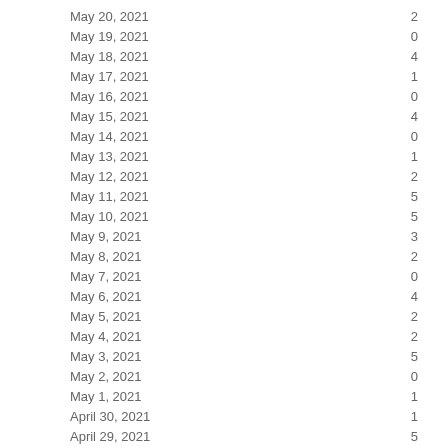| Date | Count |
| --- | --- |
| May 20, 2021 | 2 |
| May 19, 2021 | 0 |
| May 18, 2021 | 4 |
| May 17, 2021 | 1 |
| May 16, 2021 | 0 |
| May 15, 2021 | 4 |
| May 14, 2021 | 0 |
| May 13, 2021 | 1 |
| May 12, 2021 | 2 |
| May 11, 2021 | 5 |
| May 10, 2021 | 5 |
| May 9, 2021 | 3 |
| May 8, 2021 | 2 |
| May 7, 2021 | 0 |
| May 6, 2021 | 4 |
| May 5, 2021 | 2 |
| May 4, 2021 | 2 |
| May 3, 2021 | 5 |
| May 2, 2021 | 0 |
| May 1, 2021 | 1 |
| April 30, 2021 | 1 |
| April 29, 2021 | 5 |
| April 28, 2021 | 0 |